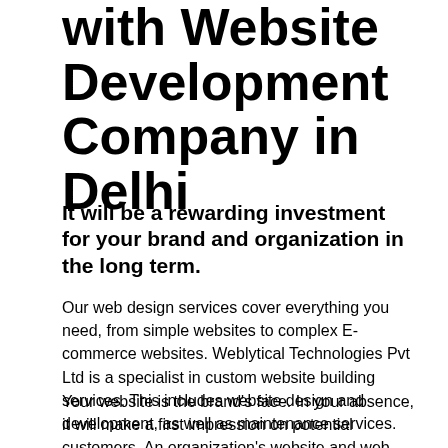with Website Development Company in Delhi
It will be a rewarding investment for your brand and organization in the long term.
Our web design services cover everything you need, from simple websites to complex E-commerce websites. Weblytical Technologies Pvt Ltd is a specialist in custom website building services. This includes website design and development, as well as maintenance services.
Your website is the brand's face. In your absence, it will make a first impression on potential customers. An organization's website and web applications are crucial. Weblytical is the right choice if you're looking